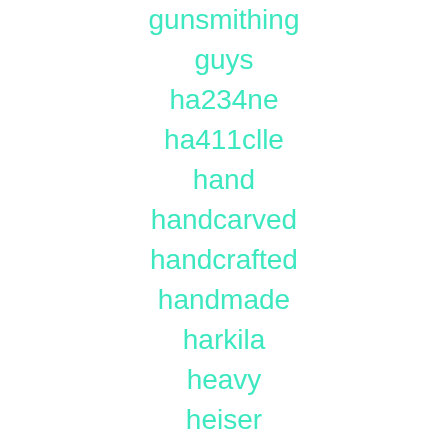gunsmithing
guys
ha234ne
ha411clle
hand
handcarved
handcrafted
handmade
harkila
heavy
heiser
hellhound